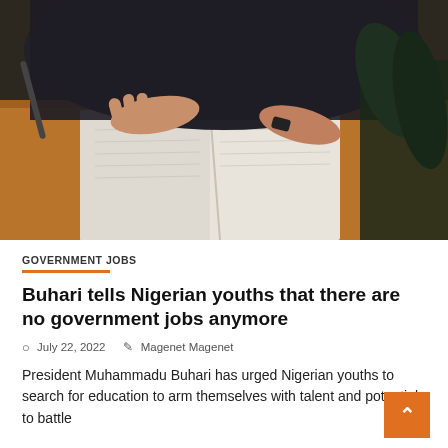[Figure (photo): Person reading an open book, hands visible, dark clothing, warm lighting with wooden surface and dark green background.]
GOVERNMENT JOBS
Buhari tells Nigerian youths that there are no government jobs anymore
July 22, 2022   Magenet Magenet
President Muhammadu Buhari has urged Nigerian youths to search for education to arm themselves with talent and potential to battle